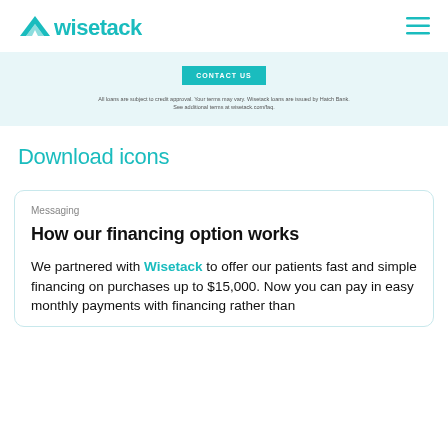wisetack
[Figure (other): Light blue banner section with a teal CONTACT US button and fine print disclaimer text about credit approval and terms]
Download icons
Messaging
How our financing option works
We partnered with Wisetack to offer our patients fast and simple financing on purchases up to $15,000. Now you can pay in easy monthly payments with financing rather than